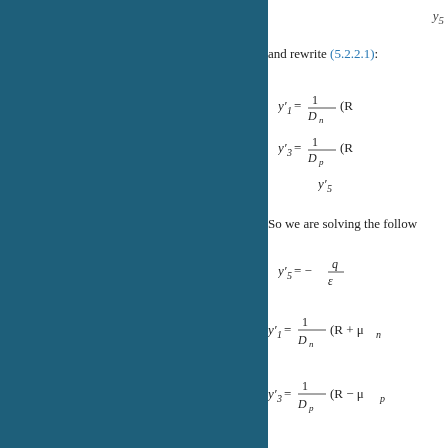y5
and rewrite (5.2.2.1):
So we are solving the follow